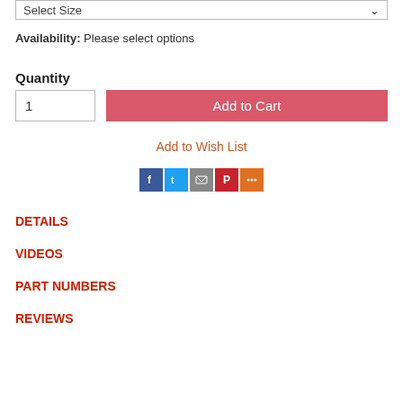Select Size
Availability: Please select options
Quantity
1
Add to Cart
Add to Wish List
[Figure (infographic): Social sharing icons: Facebook (blue), Twitter (light blue), Email (gray), Pinterest (red), More (orange)]
DETAILS
VIDEOS
PART NUMBERS
REVIEWS